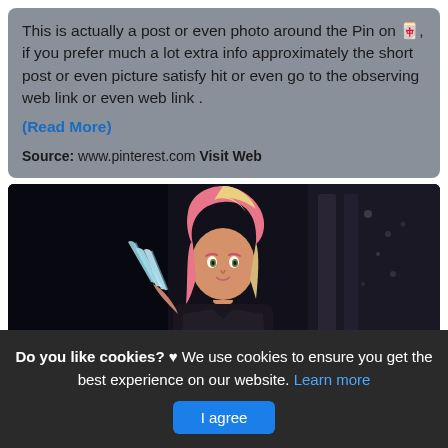This is actually a post or even photo around the Pin on 🀄, if you prefer much a lot extra info approximately the short post or even picture satisfy hit or even go to the observing web link or even web link .
(Read More)
Source: www.pinterest.com Visit Web
[Figure (photo): Digital artwork of a female character with pink and blonde hair wearing dark clothing, holding clawed blades, set against a dark gothic background.]
Do you like cookies? ♥ We use cookies to ensure you get the best experience on our website. Learn more
I agree